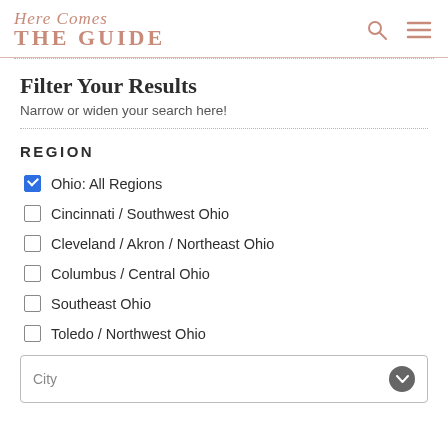Here Comes THE GUIDE
Filter Your Results
Narrow or widen your search here!
REGION
Ohio: All Regions (checked)
Cincinnati / Southwest Ohio
Cleveland / Akron / Northeast Ohio
Columbus / Central Ohio
Southeast Ohio
Toledo / Northwest Ohio
City (dropdown)